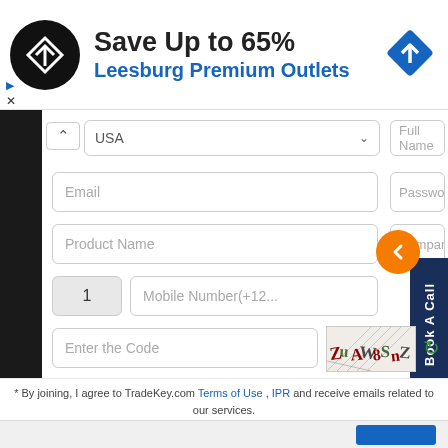[Figure (infographic): Advertisement banner: black circular logo with white diamond/arrow icon, text 'Save Up to 65%' in bold black, 'Leesburg Premium Outlets' in blue, blue diamond navigation icon on right]
USA (dropdown)  Full Name
Email   Password
Product Name   Company
1   Mobile Number(+12...)
Enter the Code   [CAPTCHA image] [refresh]
* By joining, I agree to TradeKey.com Terms of Use , IPR and receive emails related to our services.